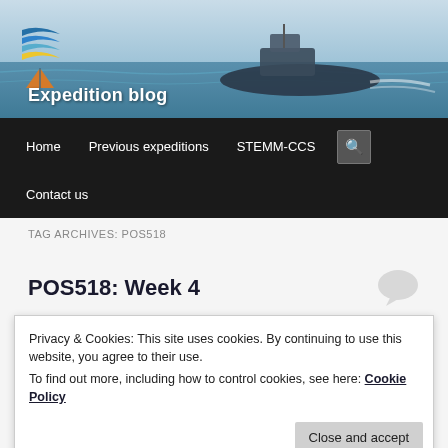[Figure (photo): Header image showing a research vessel at sea with a logo (waves/triangles in blue, yellow, orange) in the top left corner and 'Expedition blog' text overlay in white.]
Expedition blog
Home   Previous expeditions   STEMM-CCS   Contact us
TAG ARCHIVES: POS518
POS518: Week 4
Privacy & Cookies: This site uses cookies. By continuing to use this website, you agree to their use.
To find out more, including how to control cookies, see here: Cookie Policy
Close and accept
colleagues at the NOC before the weather deteriorated.